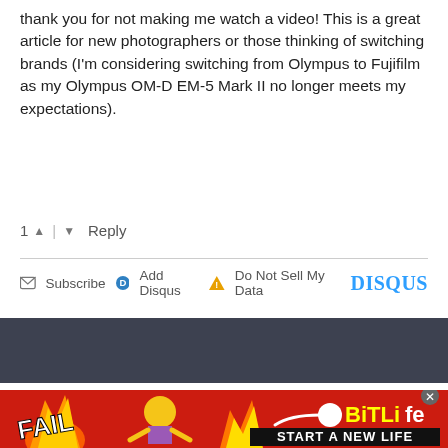thank you for not making me watch a video! This is a great article for new photographers or those thinking of switching brands (I'm considering switching from Olympus to Fujifilm as my Olympus OM-D EM-5 Mark II no longer meets my expectations).
1 ^ | v Reply
Subscribe  Add Disqus  Do Not Sell My Data    DISQUS
Copyright © DIYPhotography 2006 - 2022 | About | Contact | Advertise | Write for DIYP | Full Disclosure | Privacy Policy
[Figure (photo): Advertisement banner for BitLife mobile game showing cartoon fail scene with flames and 'START A NEW LIFE' text]